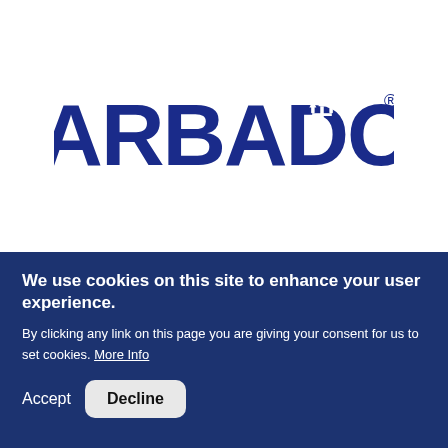[Figure (logo): Barbados tourism logo in dark navy blue, large bold letters spelling BARBADOS with a trident symbol replacing the O]
[Figure (logo): Partially visible red circular logo below the divider line, cut off by the cookie consent banner]
We use cookies on this site to enhance your user experience.
By clicking any link on this page you are giving your consent for us to set cookies. More Info
Accept
Decline